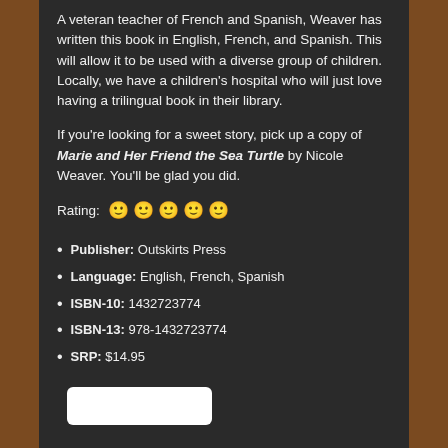A veteran teacher of French and Spanish, Weaver has written this book in English, French, and Spanish. This will allow it to be used with a diverse group of children. Locally, we have a children's hospital who will just love having a trilingual book in their library.
If you're looking for a sweet story, pick up a copy of Marie and Her Friend the Sea Turtle by Nicole Weaver. You'll be glad you did.
Rating: 🙂🙂🙂🙂🙂
Publisher: Outskirts Press
Language: English, French, Spanish
ISBN-10: 1432723774
ISBN-13: 978-1432723774
SRP: $14.95